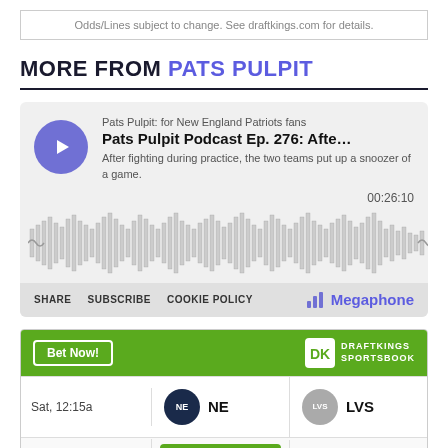Odds/Lines subject to change. See draftkings.com for details.
MORE FROM PATS PULPIT
[Figure (other): Megaphone podcast player widget for Pats Pulpit Podcast Ep. 276 with waveform, play button, duration 00:26:10, share/subscribe/cookie policy links]
[Figure (other): DraftKings Sportsbook betting widget showing NE vs LVS matchup on Sat, 12:15a]